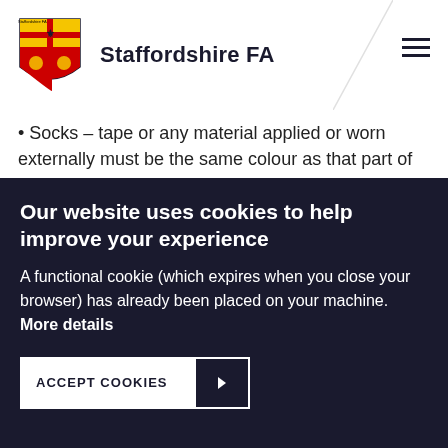Staffordshire FA
Socks – tape or any material applied or worn externally must be the same colour as that part of the sock it is applied to or covers
Shinguards – these must be made of a suitable material to provide reasonable protection and covered by the socks
Appropriate footwear
A player whose footwear or shinguard is lost accidentally
Our website uses cookies to help improve your experience
A functional cookie (which expires when you close your browser) has already been placed on your machine. More details
ACCEPT COOKIES